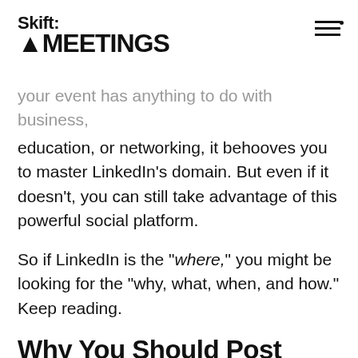Skift MEETINGS
your event has anything to do with business, education, or networking, it behooves you to master LinkedIn’s domain. But even if it doesn’t, you can still take advantage of this powerful social platform.
So if LinkedIn is the “where,” you might be looking for the “why, what, when, and how.” Keep reading.
Why You Should Post Your Events on LinkedIn
Many people use both LinkedIn and Facebook — but the similarities tend to end there. Facebook is